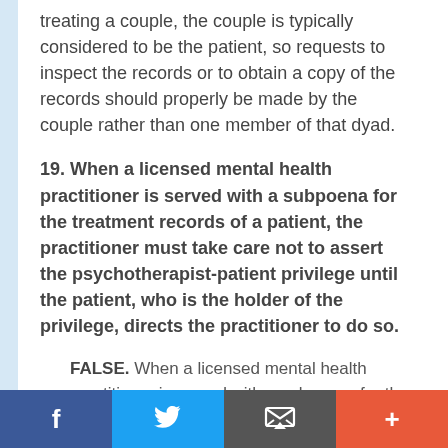treating a couple, the couple is typically considered to be the patient, so requests to inspect the records or to obtain a copy of the records should properly be made by the couple rather than one member of that dyad.
19. When a licensed mental health practitioner is served with a subpoena for the treatment records of a patient, the practitioner must take care not to assert the psychotherapist-patient privilege until the patient, who is the holder of the privilege, directs the practitioner to do so.
FALSE. When a licensed mental health practitioner is served with a subpoena for the treatment records of a patient, the practitioner
Facebook Twitter Email More